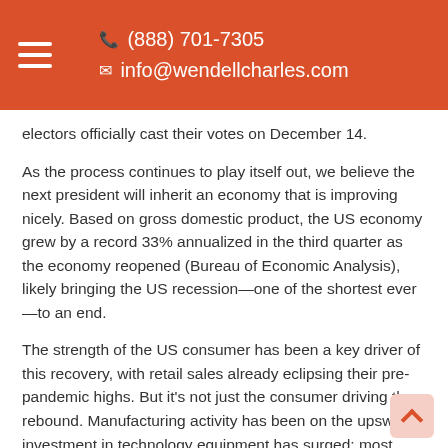(888) 701-7305  info@wendellcharles.com
electors officially cast their votes on December 14.
As the process continues to play itself out, we believe the next president will inherit an economy that is improving nicely. Based on gross domestic product, the US economy grew by a record 33% annualized in the third quarter as the economy reopened (Bureau of Economic Analysis), likely bringing the US recession—one of the shortest ever—to an end.
The strength of the US consumer has been a key driver of this recovery, with retail sales already eclipsing their pre-pandemic highs. But it's not just the consumer driving the rebound. Manufacturing activity has been on the upswing; investment in technology equipment has surged; most housing markets across the country are booming; company results during third quarter earnings season have been much